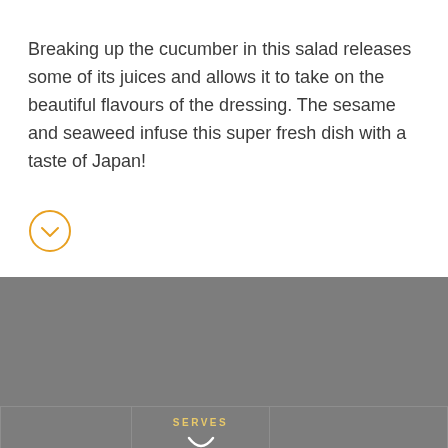Breaking up the cucumber in this salad releases some of its juices and allows it to take on the beautiful flavours of the dressing. The sesame and seaweed infuse this super fresh dish with a taste of Japan!
[Figure (other): Orange circular chevron/down-arrow button icon]
[Figure (infographic): Dark grey background section with a 'SERVES' label and number panel at the bottom, partially visible]